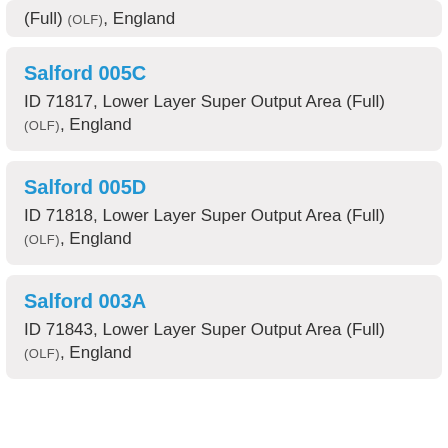(Full) (OLF), England
Salford 005C
ID 71817, Lower Layer Super Output Area (Full) (OLF), England
Salford 005D
ID 71818, Lower Layer Super Output Area (Full) (OLF), England
Salford 003A
ID 71843, Lower Layer Super Output Area (Full) (OLF), England